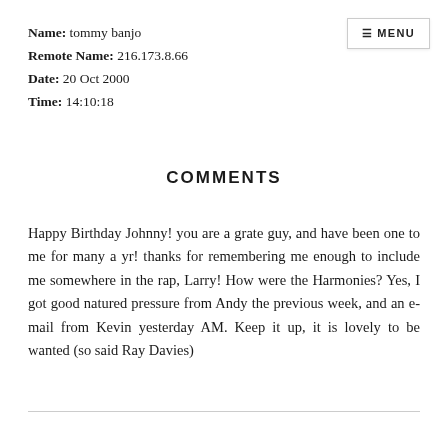Name: tommy banjo
Remote Name: 216.173.8.66
Date: 20 Oct 2000
Time: 14:10:18
COMMENTS
Happy Birthday Johnny! you are a grate guy, and have been one to me for many a yr! thanks for remembering me enough to include me somewhere in the rap, Larry! How were the Harmonies? Yes, I got good natured pressure from Andy the previous week, and an e-mail from Kevin yesterday AM. Keep it up, it is lovely to be wanted (so said Ray Davies)